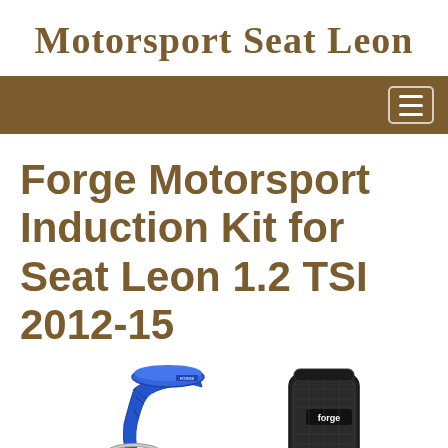Motorsport Seat Leon
[Figure (other): Navigation bar with brown background and hamburger menu icon]
Forge Motorsport Induction Kit for Seat Leon 1.2 TSI 2012-15
[Figure (photo): Product photo of Forge Motorsport induction kit showing blue silicone hose, black cone air filter, hose clamp, adaptor fittings, and hardware components. eBay watermark visible at bottom.]